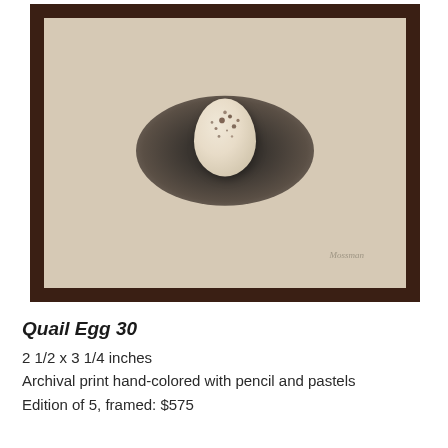[Figure (photo): A framed artwork photograph showing a speckled quail egg resting in a dark oval depression or shadow, set against a cream/beige background. The frame is dark walnut-colored wood.]
Quail Egg 30
2 1/2 x 3 1/4 inches
Archival print hand-colored with pencil and pastels
Edition of 5, framed: $575